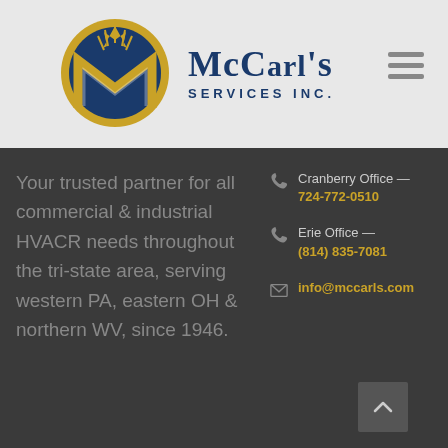[Figure (logo): McCarl's Services Inc. logo — circular emblem with blue background and gold M letter design, with company name text to the right]
Your trusted partner for all commercial & industrial HVACR needs throughout the tri-state area, serving western PA, eastern OH & northern WV, since 1946.
Cranberry Office — 724-772-0510
Erie Office — (814) 835-7081
info@mccarls.com